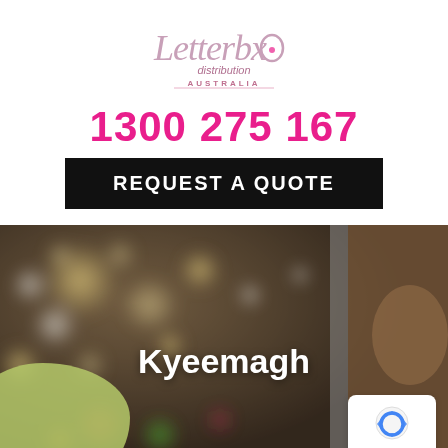[Figure (logo): Letterbox Distribution Australia logo — stylized handwritten text with pink/mauve tones and 'AUSTRALIA' subtitle in small caps]
1300 275 167
REQUEST A QUOTE
[Figure (photo): Blurred interior background photo with bokeh lights, showing a room interior with warm tones and a woman partially visible on the right edge. A vertical grey divider stripe is visible. Text 'Kyeemagh' centered over the photo.]
Kyeemagh